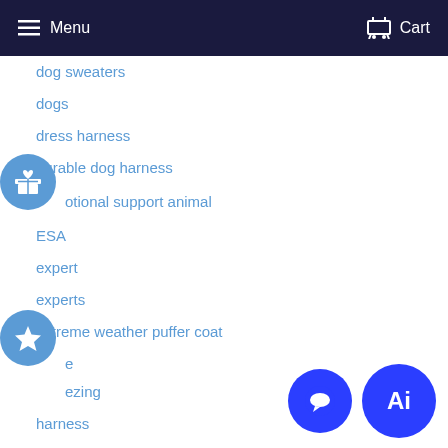Menu   Cart
dog sweaters
dogs
dress harness
durable dog harness
emotional support animal
ESA
expert
experts
extreme weather puffer coat
freeze
freezing
harness
homemade
jacket
knit
matching leash
natural dye